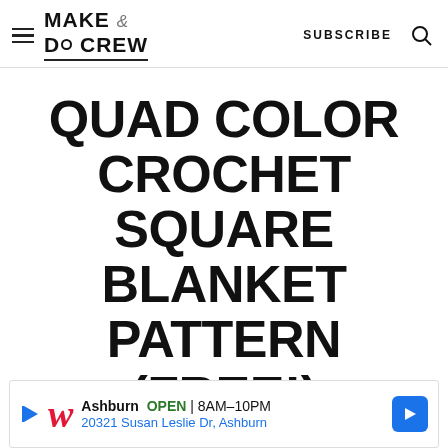MAKE & DO CREW | SUBSCRIBE
QUAD COLOR CROCHET SQUARE BLANKET PATTERN (FREE!)
Purchase the ad-free, printable PDF
with
[Figure (advertisement): Walgreens ad banner: Ashburn OPEN 8AM-10PM, 20321 Susan Leslie Dr, Ashburn]